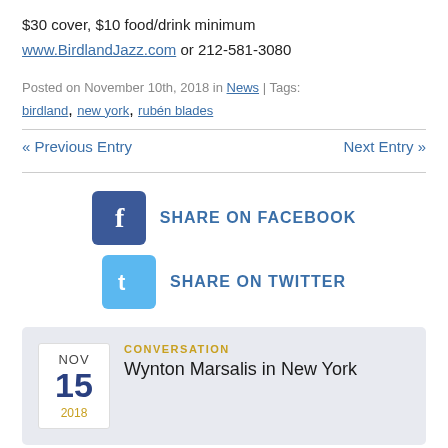$30 cover, $10 food/drink minimum
www.BirdlandJazz.com or 212-581-3080
Posted on November 10th, 2018 in News | Tags: birdland, new york, rubén blades
« Previous Entry
Next Entry »
[Figure (other): Share on Facebook button with Facebook icon]
[Figure (other): Share on Twitter button with Twitter icon]
CONVERSATION
Wynton Marsalis in New York
NOV 15 2018